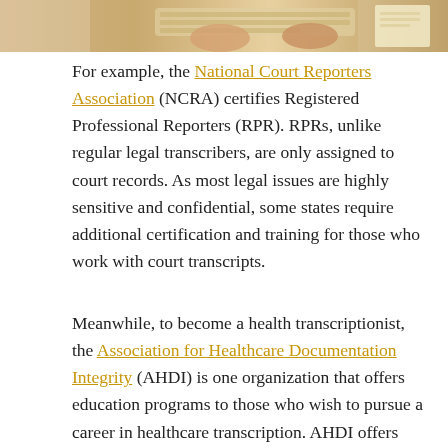[Figure (photo): Cropped photo showing hands on a keyboard, with papers and office supplies in the background.]
For example, the National Court Reporters Association (NCRA) certifies Registered Professional Reporters (RPR). RPRs, unlike regular legal transcribers, are only assigned to court records. As most legal issues are highly sensitive and confidential, some states require additional certification and training for those who work with court transcripts.
Meanwhile, to become a health transcriptionist, the Association for Healthcare Documentation Integrity (AHDI) is one organization that offers education programs to those who wish to pursue a career in healthcare transcription. AHDI offers both Registered Healthcare Documentation